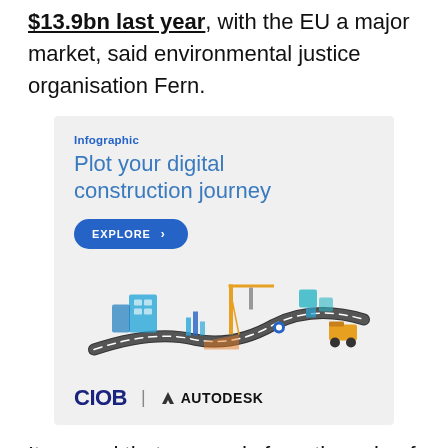$13.9bn last year, with the EU a major market, said environmental justice organisation Fern.
[Figure (infographic): CIOB and Autodesk advertisement: 'Infographic – Plot your digital construction journey' with an EXPLORE button and an illustration of a construction site with crane, road, vehicles, and digital elements. Logos of CIOB and Autodesk at the bottom.]
It warned that proceeds from the sale of timber could be used to pay for the invasion and called on the EU and other governments to ban all types of Russian timber and wood products.